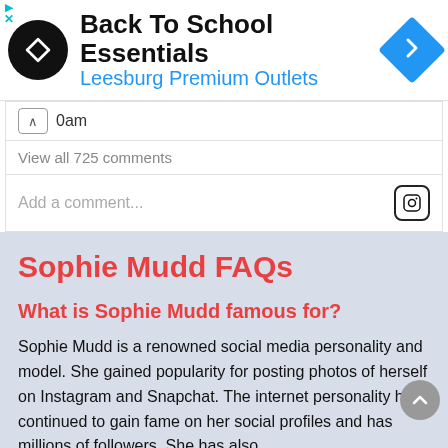[Figure (screenshot): Advertisement banner for Back To School Essentials at Leesburg Premium Outlets with black circular logo and blue diamond arrow icon]
0am
View all 725 comments
Add a comment...
Sophie Mudd FAQs
What is Sophie Mudd famous for?
Sophie Mudd is a renowned social media personality and model. She gained popularity for posting photos of herself on Instagram and Snapchat. The internet personality has continued to gain fame on her social profiles and has millions of followers. She has also